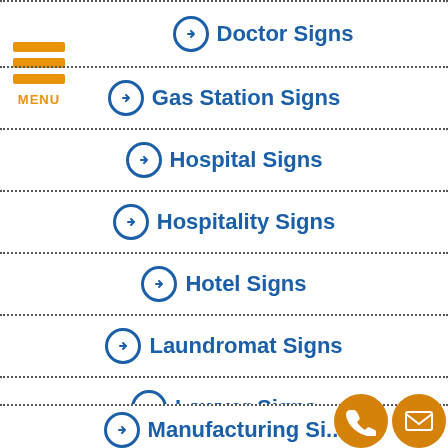[Figure (logo): Hamburger menu icon with three orange bars and MENU label]
Doctor Signs
Gas Station Signs
Hospital Signs
Hospitality Signs
Hotel Signs
Laundromat Signs
Lawyer Signs
Mall Signs
Manufacturing Signs (partial)
[Figure (other): Phone and email contact icons — two gold circles with phone handset and envelope symbols]